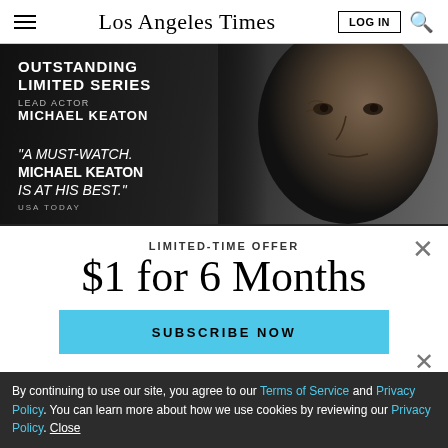Los Angeles Times
[Figure (photo): Advertisement banner for Hulu's Dopesick series. Dark background with an older man's face on the right side. Text reads: OUTSTANDING LIMITED SERIES, LEAD ACTOR, MICHAEL KEATON, "A MUST-WATCH. MICHAEL KEATON IS AT HIS BEST." USA TODAY]
LIMITED-TIME OFFER
$1 for 6 Months
SUBSCRIBE NOW
By continuing to use our site, you agree to our Terms of Service and Privacy Policy. You can learn more about how we use cookies by reviewing our Privacy Policy. Close